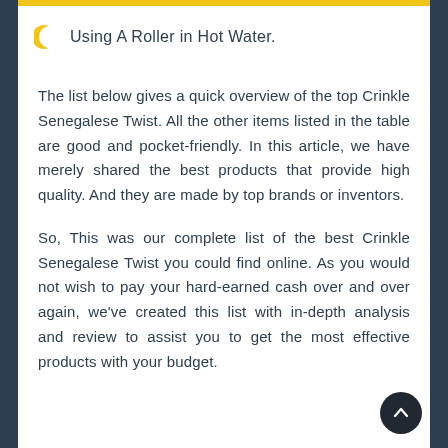Using A Roller in Hot Water.
The list below gives a quick overview of the top Crinkle Senegalese Twist. All the other items listed in the table are good and pocket-friendly. In this article, we have merely shared the best products that provide high quality. And they are made by top brands or inventors.
So, This was our complete list of the best Crinkle Senegalese Twist you could find online. As you would not wish to pay your hard-earned cash over and over again, we've created this list with in-depth analysis and review to assist you to get the most effective products with your budget.